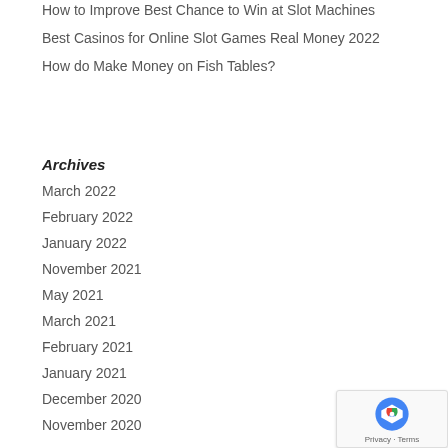How to Improve Best Chance to Win at Slot Machines
Best Casinos for Online Slot Games Real Money 2022
How do Make Money on Fish Tables?
Archives
March 2022
February 2022
January 2022
November 2021
May 2021
March 2021
February 2021
January 2021
December 2020
November 2020